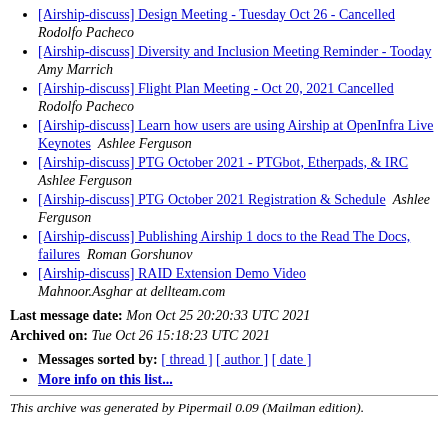[Airship-discuss] Design Meeting - Tuesday Oct 26 - Cancelled  Rodolfo Pacheco
[Airship-discuss] Diversity and Inclusion Meeting Reminder - Tooday  Amy Marrich
[Airship-discuss] Flight Plan Meeting - Oct 20, 2021 Cancelled  Rodolfo Pacheco
[Airship-discuss] Learn how users are using Airship at OpenInfra Live Keynotes  Ashlee Ferguson
[Airship-discuss] PTG October 2021 - PTGbot, Etherpads, & IRC  Ashlee Ferguson
[Airship-discuss] PTG October 2021 Registration & Schedule  Ashlee Ferguson
[Airship-discuss] Publishing Airship 1 docs to the Read The Docs, failures  Roman Gorshunov
[Airship-discuss] RAID Extension Demo Video  Mahnoor.Asghar at dellteam.com
Last message date: Mon Oct 25 20:20:33 UTC 2021
Archived on: Tue Oct 26 15:18:23 UTC 2021
Messages sorted by: [ thread ] [ author ] [ date ]
More info on this list...
This archive was generated by Pipermail 0.09 (Mailman edition).